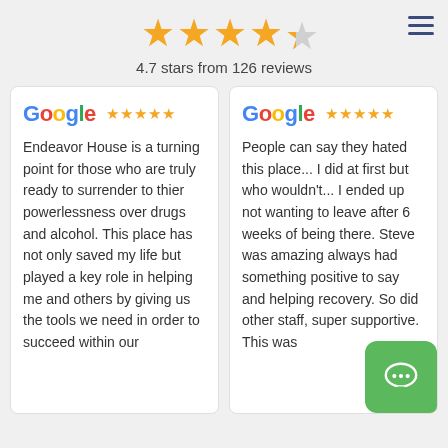[Figure (infographic): 4.7 out of 5 stars rating display with 4 full gold stars and 1 half gold star, text reads '4.7 stars from 126 reviews']
4.7 stars from 126 reviews
[Figure (infographic): Google review card with 5 gold stars. Review text: Endeavor House is a turning point for those who are truly ready to surrender to thier powerlessness over drugs and alcohol. This place has not only saved my life but played a key role in helping me and others by giving us the tools we need in order to succeed within our]
[Figure (infographic): Google review card with 5 gold stars. Review text: People can say they hated this place... I did at first but who wouldn't... I ended up not wanting to leave after 6 weeks of being there. Steve was amazing always had something positive to say and helping recovery. So did other staff, super supportive. This was]